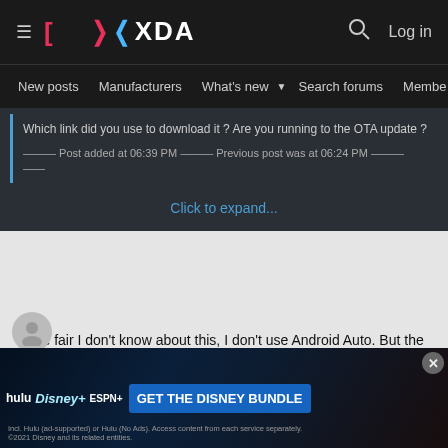XDA — New posts | Manufacturers | What's new | Search forums | Members | Log in
Which link did you use to download it ? Are you running to the OTA update ?
——— Post added at 06:39 PM ——— Previous post was at 06:24 PM ———
Click to expand...
To be fair I don't know about this, I don't use Android Auto. But the build itself is great.
I didn't encounter bugs on OOS 10 Stable either to be honest, and PE is the same story, nothing to complain about.
Try it, you'll love it !
[Figure (screenshot): Disney Bundle advertisement banner with Hulu, Disney+, ESPN+ logos and GET THE DISNEY BUNDLE call to action button]